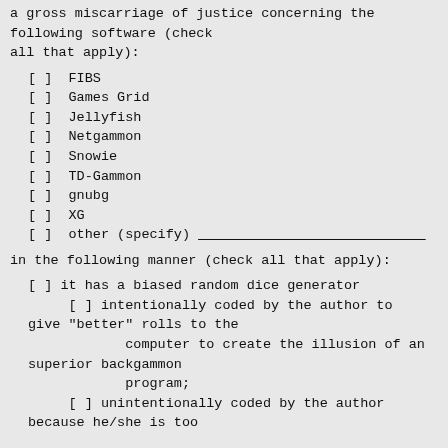a gross miscarriage of justice concerning the following software (check all that apply):
[ ] FIBS
[ ] Games Grid
[ ] Jellyfish
[ ] Netgammon
[ ] Snowie
[ ] TD-Gammon
[ ] gnubg
[ ] XG
[ ] other (specify) ______________________
in the following manner (check all that apply):
[ ] it has a biased random dice generator
[ ] intentionally coded by the author to give "better" rolls to the computer to create the illusion of an superior backgammon program;
[ ] unintentionally coded by the author because he/she is too